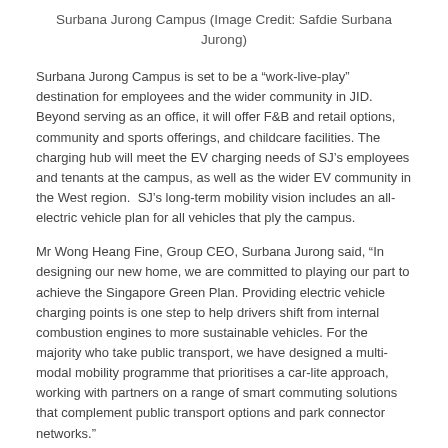Surbana Jurong Campus (Image Credit: Safdie Surbana Jurong)
Surbana Jurong Campus is set to be a “work-live-play” destination for employees and the wider community in JID. Beyond serving as an office, it will offer F&B and retail options, community and sports offerings, and childcare facilities. The charging hub will meet the EV charging needs of SJ’s employees and tenants at the campus, as well as the wider EV community in the West region.  SJ’s long-term mobility vision includes an all-electric vehicle plan for all vehicles that ply the campus.
Mr Wong Heang Fine, Group CEO, Surbana Jurong said, “In designing our new home, we are committed to playing our part to achieve the Singapore Green Plan. Providing electric vehicle charging points is one step to help drivers shift from internal combustion engines to more sustainable vehicles. For the majority who take public transport, we have designed a multi-modal mobility programme that prioritises a car-lite approach, working with partners on a range of smart commuting solutions that complement public transport options and park connector networks.”